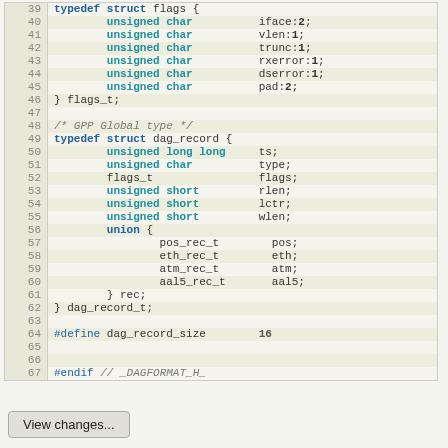[Figure (screenshot): Code snippet showing C typedef struct definitions for flags and dag_record types, with line numbers 39-67, including unsigned char fields with bit widths, a union with pos_rec_t, eth_rec_t, atm_rec_t, aal5_rec_t fields, a #define for dag_record_size of 16, and #endif directive.]
View changes...